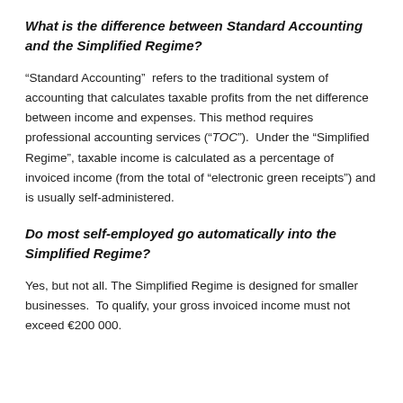What is the difference between Standard Accounting and the Simplified Regime?
“Standard Accounting”  refers to the traditional system of accounting that calculates taxable profits from the net difference between income and expenses. This method requires professional accounting services (“TOC”).  Under the “Simplified Regime”, taxable income is calculated as a percentage of invoiced income (from the total of “electronic green receipts”) and is usually self-administered.
Do most self-employed go automatically into the Simplified Regime?
Yes, but not all. The Simplified Regime is designed for smaller businesses.  To qualify, your gross invoiced income must not exceed €200 000.